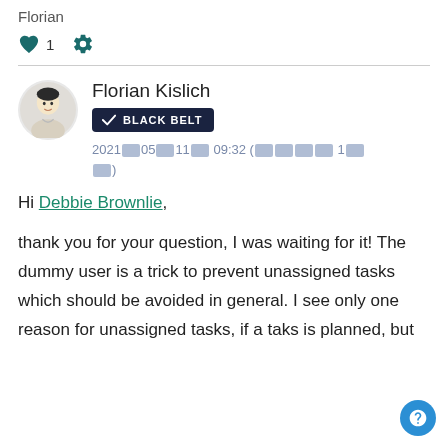Florian
♥ 1  ⚙
Florian Kislich
BLACK BELT
2021年05月11日 09:32 (編集済み 1回)
Hi Debbie Brownlie,

thank you for your question, I was waiting for it! The dummy user is a trick to prevent unassigned tasks which should be avoided in general. I see only one reason for unassigned tasks, if a taks is planned, but